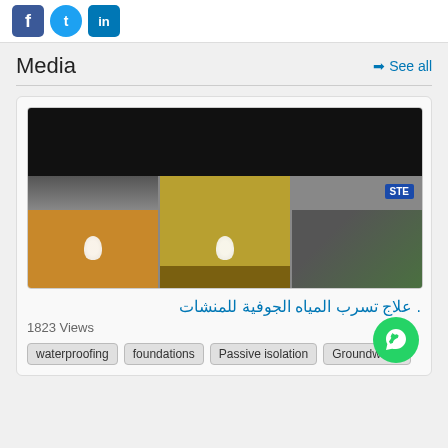Social media icons: Facebook, Twitter, LinkedIn
Media
→ See all
[Figure (photo): Video thumbnail showing three panels: construction/waterproofing scenes with lighting and a sign]
. علاج تسرب المياه الجوفية للمنشات
1823 Views
waterproofing   foundations   Passive isolation   Groundwater